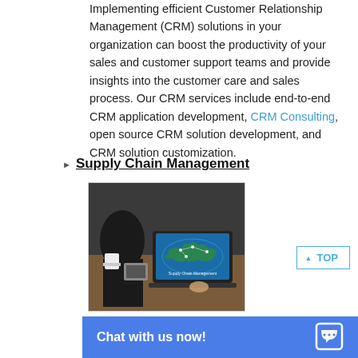Implementing efficient Customer Relationship Management (CRM) solutions in your organization can boost the productivity of your sales and customer support teams and provide insights into the customer care and sales process. Our CRM services include end-to-end CRM application development, CRM Consulting, open source CRM solution development, and CRM solution customization.
Supply Chain Management
[Figure (photo): A person sitting at a desk with a laptop displaying a world map with the text 'Supply Chain Management', with a coffee cup and calculator nearby.]
We provide a host of supply chain management solutions, including applications for procurement, product flow and delivery, warehouse management, distribution, expenditure scrutiny, scheduling and logistics and custome...